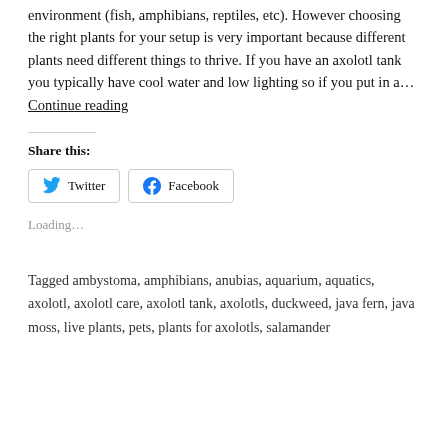…m personally a big advocate of live plants in any aquatic environment (fish, amphibians, reptiles, etc). However choosing the right plants for your setup is very important because different plants need different things to thrive. If you have an axolotl tank you typically have cool water and low lighting so if you put in a… Continue reading
Share this:
Twitter  Facebook
Loading…
Tagged ambystoma, amphibians, anubias, aquarium, aquatics, axolotl, axolotl care, axolotl tank, axolotls, duckweed, java fern, java moss, live plants, pets, plants for axolotls, salamander